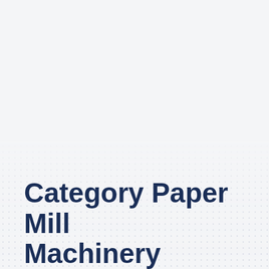[Figure (other): Decorative dot pattern background in lower portion of cover page]
Category Paper Mill Machinery